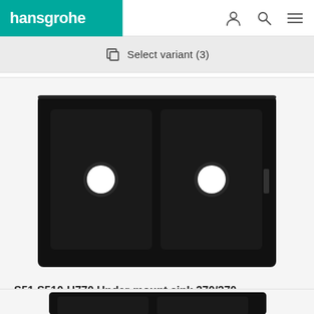hansgrohe
Select variant (3)
[Figure (photo): Top-view photograph of a black double-bowl under-mount kitchen sink (S51 S510-U770 370/370) with two round drain holes, on a light grey background.]
S51 S510-U770 Under-mount sink 370/370
Select variant (3)
[Figure (photo): Partial view of another black kitchen sink product, partially cut off at the bottom of the page.]